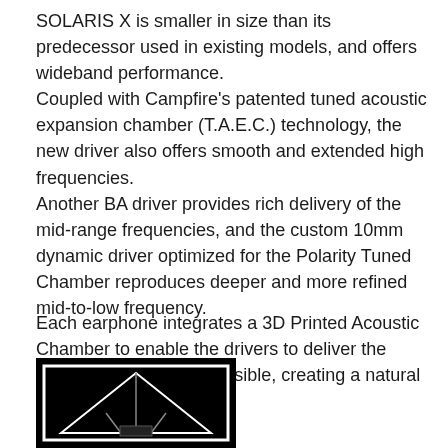SOLARIS X is smaller in size than its predecessor used in existing models, and offers wideband performance. Coupled with Campfire's patented tuned acoustic expansion chamber (T.A.E.C.) technology, the new driver also offers smooth and extended high frequencies. Another BA driver provides rich delivery of the mid-range frequencies, and the custom 10mm dynamic driver optimized for the Polarity Tuned Chamber reproduces deeper and more refined mid-to-low frequency.
Each earphone integrates a 3D Printed Acoustic Chamber to enable the drivers to deliver the highest audio quality possible, creating a natural and accurate sound.
[Figure (photo): Black and white image of an earphone or audio component, partially visible at bottom of page, showing a geometric/angular design on a black background.]